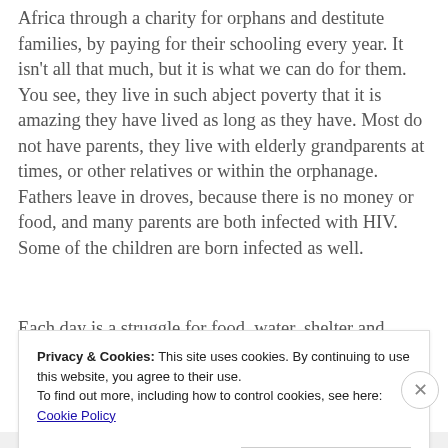Africa through a charity for orphans and destitute families, by paying for their schooling every year. It isn't all that much, but it is what we can do for them. You see, they live in such abject poverty that it is amazing they have lived as long as they have. Most do not have parents, they live with elderly grandparents at times, or other relatives or within the orphanage. Fathers leave in droves, because there is no money or food, and many parents are both infected with HIV. Some of the children are born infected as well.
Each day is a struggle for food, water, shelter and
Privacy & Cookies: This site uses cookies. By continuing to use this website, you agree to their use.
To find out more, including how to control cookies, see here: Cookie Policy